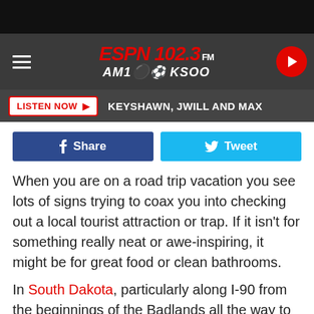[Figure (logo): ESPN 102.3 FM AM 1000 KSOO radio station header with hamburger menu and play button]
LISTEN NOW ▶   KEYSHAWN, JWILL AND MAX
[Figure (infographic): Facebook Share and Twitter Tweet social sharing buttons]
When you are on a road trip vacation you see lots of signs trying to coax you into checking out a local tourist attraction or trap. If it isn't for something really neat or awe-inspiring, it might be for great food or clean bathrooms.
In South Dakota, particularly along I-90 from the beginnings of the Badlands all the way to the Black Hills, there are a lot of attractions and traps.